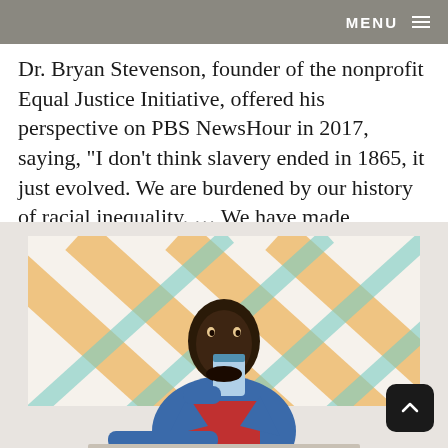MENU
Dr. Bryan Stevenson, founder of the nonprofit Equal Justice Initiative, offered his perspective on PBS NewsHour in 2017, saying, "I don't think slavery ended in 1865, it just evolved. We are burdened by our history of racial inequality. … We have made progress, but our silence has condemned us."
[Figure (photo): A young Black man in a denim jacket drinking from a cup, seated in front of a colorful plaid/diamond-pattern background in orange, blue, and gold tones.]